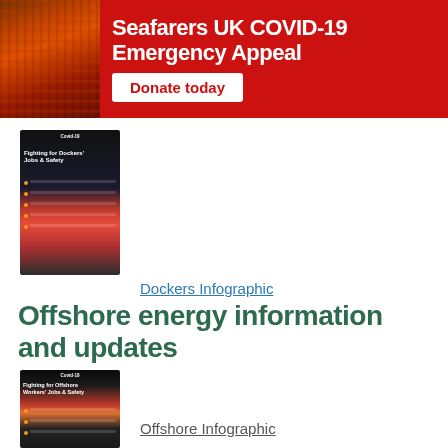[Figure (infographic): Red banner advertisement for Seafarers UK COVID-19 Emergency Appeal with photo of ship hull on left and donate button]
[Figure (infographic): Thumbnail of Dockers infographic - Fighting for Dockers Jobs and Safety]
Dockers Infographic
Offshore energy information and updates
[Figure (infographic): Thumbnail of Offshore infographic - Fighting for Offshore Workers Jobs and Safety]
Offshore Infographic